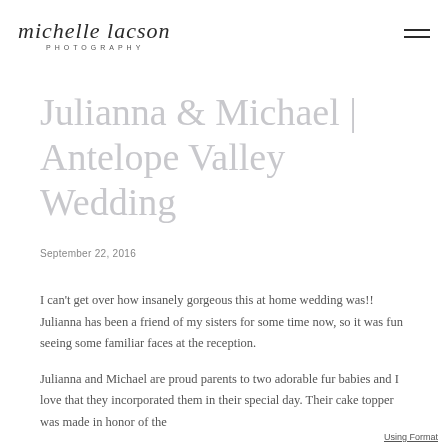michelle lacson PHOTOGRAPHY
Julianna & Michael | Antelope Valley Wedding
September 22, 2016
I can't get over how insanely gorgeous this at home wedding was!! Julianna has been a friend of my sisters for some time now, so it was fun seeing some familiar faces at the reception.
Julianna and Michael are proud parents to two adorable fur babies and I love that they incorporated them in their special day. Their cake topper was made in honor of the
Using Format